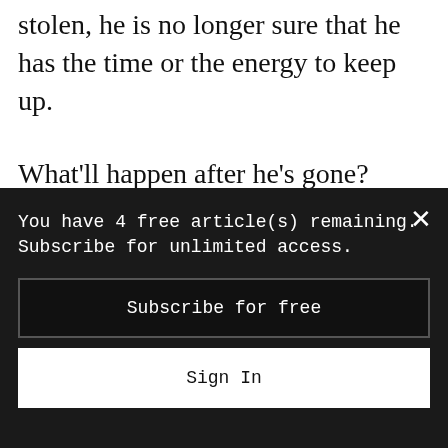stolen, he is no longer sure that he has the time or the energy to keep up.
What'll happen after he's gone? Though he first went ginseng hunting as a child with his grandfather, he purposefully hasn't passed on his love of the root to his own grandchildren. So the ginseng theft represents not just a financial loss, but also a lost opportunity for
You have 4 free article(s) remaining. Subscribe for unlimited access.
Subscribe for free
Sign In